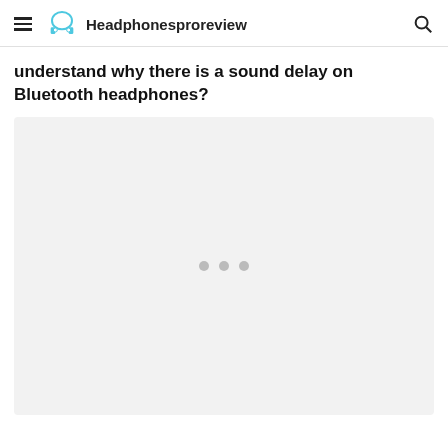Headphonesproreview
understand why there is a sound delay on Bluetooth headphones?
[Figure (other): Placeholder content area with three grey dots indicating loading or ad space]